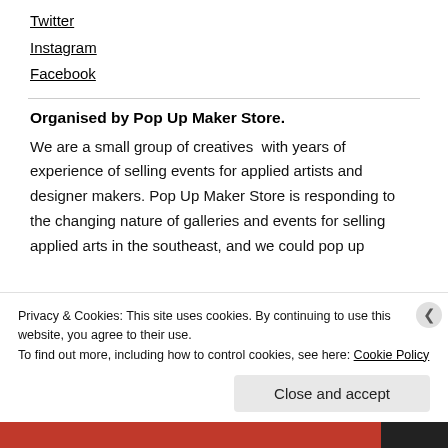Twitter
Instagram
Facebook
Organised by Pop Up Maker Store.
We are a small group of creatives  with years of experience of selling events for applied artists and designer makers. Pop Up Maker Store is responding to the changing nature of galleries and events for selling applied arts in the southeast, and we could pop up
Privacy & Cookies: This site uses cookies. By continuing to use this website, you agree to their use.
To find out more, including how to control cookies, see here: Cookie Policy
Close and accept